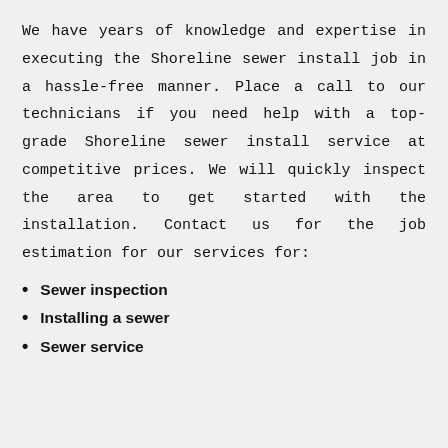We have years of knowledge and expertise in executing the Shoreline sewer install job in a hassle-free manner. Place a call to our technicians if you need help with a top-grade Shoreline sewer install service at competitive prices. We will quickly inspect the area to get started with the installation. Contact us for the job estimation for our services for:
Sewer inspection
Installing a sewer
Sewer service